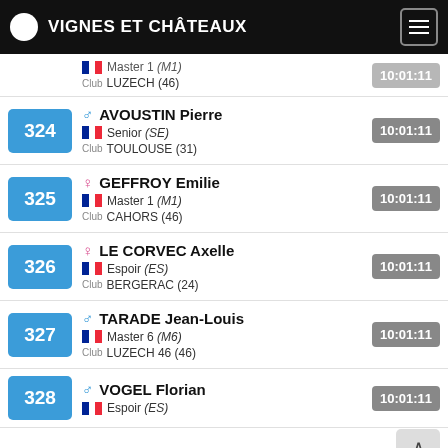VIGNES ET CHÂTEAUX
Partial entry — Master 1 (M1) / Club LUZECH (46)
324 — AVOUSTIN Pierre — Senior (SE) — Club TOULOUSE (31) — 10:01:11
325 — GEFFROY Emilie — Master 1 (M1) — Club CAHORS (46) — 10:01:11
326 — LE CORVEC Axelle — Espoir (ES) — Club BERGERAC (24) — 10:01:11
327 — TARADE Jean-Louis — Master 6 (M6) — Club LUZECH 46 (46) — 10:01:11
328 — VOGEL Florian — Espoir (ES) — 10:01:11